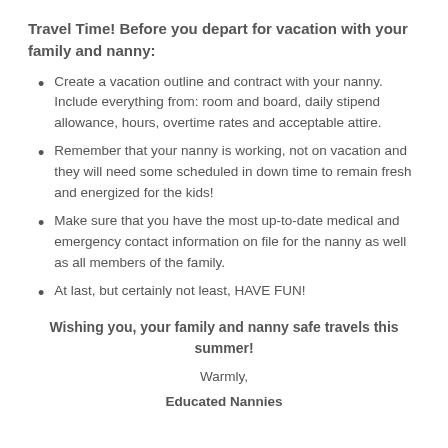Travel Time! Before you depart for vacation with your family and nanny:
Create a vacation outline and contract with your nanny. Include everything from: room and board, daily stipend allowance, hours, overtime rates and acceptable attire.
Remember that your nanny is working, not on vacation and they will need some scheduled in down time to remain fresh and energized for the kids!
Make sure that you have the most up-to-date medical and emergency contact information on file for the nanny as well as all members of the family.
At last, but certainly not least, HAVE FUN!
Wishing you, your family and nanny safe travels this summer!
Warmly,
Educated Nannies